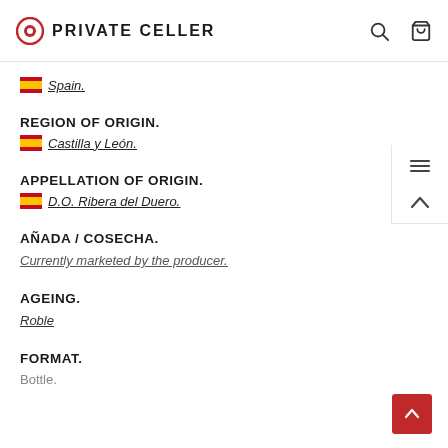PRIVATE CELLER
Spain.
REGION OF ORIGIN.
Castilla y León.
APPELLATION OF ORIGIN.
D.O. Ribera del Duero.
AÑADA / COSECHA.
Currently marketed by the producer.
AGEING.
Roble
FORMAT.
Bottle.